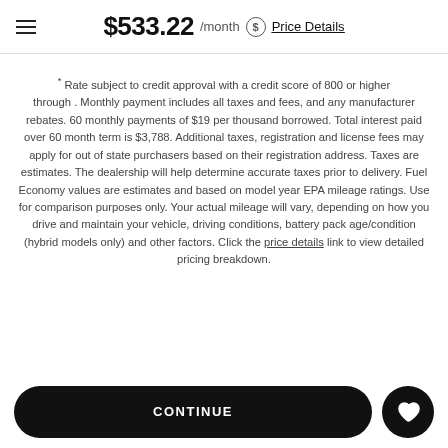$533.22 /month  Price Details
* Rate subject to credit approval with a credit score of 800 or higher through . Monthly payment includes all taxes and fees, and any manufacturer rebates. 60 monthly payments of $19 per thousand borrowed. Total interest paid over 60 month term is $3,788. Additional taxes, registration and license fees may apply for out of state purchasers based on their registration address. Taxes are estimates. The dealership will help determine accurate taxes prior to delivery. Fuel Economy values are estimates and based on model year EPA mileage ratings. Use for comparison purposes only. Your actual mileage will vary, depending on how you drive and maintain your vehicle, driving conditions, battery pack age/condition (hybrid models only) and other factors. Click the price details link to view detailed pricing breakdown.